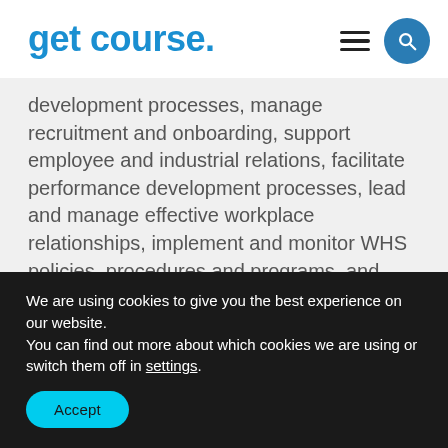get course.
development processes, manage recruitment and onboarding, support employee and industrial relations, facilitate performance development processes, lead and manage effective workplace relationships, implement and monitor WHS policies, procedures and programs, and many more.
Free one-year AHRI Associate Membership
We are using cookies to give you the best experience on our website.
You can find out more about which cookies we are using or switch them off in settings.
Accept